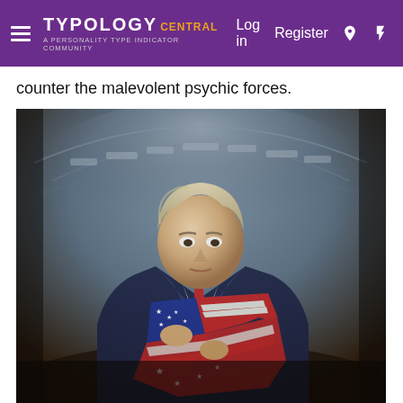TYPOLOGY CENTRAL — A PERSONALITY TYPE INDICATOR COMMUNITY | Log in | Register
counter the malevolent psychic forces.
[Figure (photo): Painting of a man in a dark suit holding a tattered American flag to his chest, set against a dramatic stadium-like background with moody blue-grey tones.]